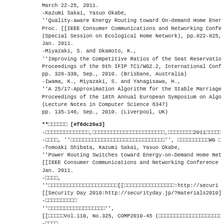March 22-25, 2011.
-Kazumi Sakai, Yasuo Okabe,
''Quality-aware Energy Routing toward On-demand Home Energ
Proc. [[IEEE Consumer Communications and Networking Confer
(Special Session on Ecological Home Network), pp.822-825,
Jan. 2011.
-Miyazaki, S. and Okamoto, K.,
''Improving the Competitive Ratios of the Seat Reservation
Proceedings of the 6th IFIP TC1/WG2.2, International Confe
pp. 328-339, Sep., 2010. (Brisbane, Australia)
-Iwama, K., Miyazaki, S. and Yanagisawa, H.,
''A 25/17-Approximation Algorithm for the Stable Marriage
Proceedings of the 18th Annual European Symposium on Algo
(Lecture Notes in Computer Science 6347)
pp. 135-146, Sep., 2010. (Liverpool, UK)
**□□□□□□ [#f6dc20a3]
-□□□□□□□□□□□□□□,□□□□□□□□□□□□□□□□□□□□□□□,□□□□□□□□2011□□□□□ BS
-□□□□, ''□□□□□□□□□□□□□□□□□□□□□□□□□□□□□□'', □□□□□□□□□□WG □□
-Tomoaki Shibata, Kazumi Sakai, Yasuo Okabe,
''Power Routing Switches toward Energy-on-Demand Home Netw
[[IEEE Consumer Communications and Networking Conference (
Jan. 2011.
-□□□□,
''□□□□□□□□□□□□□□□□□□□□□□[[□□□□□□□□□□□□□□□□:http://securi
[[Security Day 2010:http://securityday.jp/?materials2010]]
-□□□□□□□□□□
''□□□□□□□□□□□□□□□□□□'',
[[□□□□□Vol.110, No.325, COMP2010-45 (□□□□□□□□□□□□□□□□□□□□□ )
-□□□□,